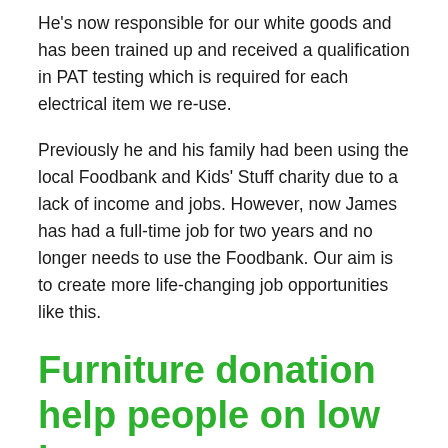He's now responsible for our white goods and has been trained up and received a qualification in PAT testing which is required for each electrical item we re-use.
Previously he and his family had been using the local Foodbank and Kids' Stuff charity due to a lack of income and jobs. However, now James has had a full-time job for two years and no longer needs to use the Foodbank. Our aim is to create more life-changing job opportunities like this.
Furniture donation help people on low incomes...
Mandy's story